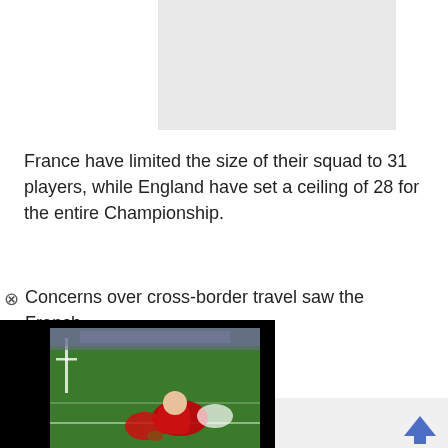[Figure (other): Light gray advertisement placeholder box at top center of page]
France have limited the size of their squad to 31 players, while England have set a ceiling of 28 for the entire Championship.
Concerns over cross-border travel saw the French Top 14 clubs from competing ing the prospect of ns if Paris declined to
[Figure (photo): Video overlay showing rugby players on a green field, embedded in a black video player widget]
[Figure (logo): Small advertisement close widget in bottom right corner with X button and blue arrow logo]